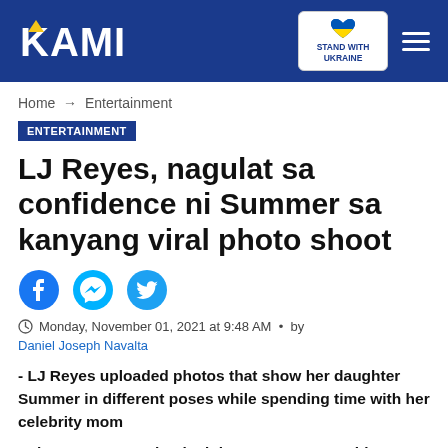KAMI — Stand with Ukraine
Home → Entertainment
ENTERTAINMENT
LJ Reyes, nagulat sa confidence ni Summer sa kanyang viral photo shoot
[Figure (other): Social media share icons: Facebook, Messenger, Twitter]
Monday, November 01, 2021 at 9:48 AM • by Daniel Joseph Navalta
- LJ Reyes uploaded photos that show her daughter Summer in different poses while spending time with her celebrity mom
- The actress got shocked that Summer was able to pose